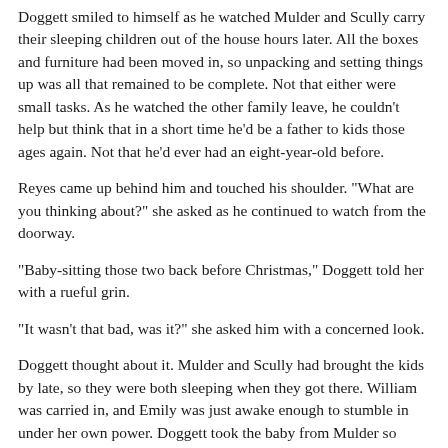Doggett smiled to himself as he watched Mulder and Scully carry their sleeping children out of the house hours later. All the boxes and furniture had been moved in, so unpacking and setting things up was all that remained to be complete. Not that either were small tasks. As he watched the other family leave, he couldn't help but think that in a short time he'd be a father to kids those ages again. Not that he'd ever had an eight-year-old before.
Reyes came up behind him and touched his shoulder. "What are you thinking about?" she asked as he continued to watch from the doorway.
"Baby-sitting those two back before Christmas," Doggett told her with a rueful grin.
"It wasn't that bad, was it?" she asked him with a concerned look.
Doggett thought about it. Mulder and Scully had brought the kids by late, so they were both sleeping when they got there. William was carried in, and Emily was just awake enough to stumble in under her own power. Doggett took the baby from Mulder so Mulder could set up the playpen for Will, and lead Emily into Gibson's room. He figured that it would be a quiet night. With Will still sleeping, and Emily looking like it would take mere minutes to fall asleep, what could go wrong? Emily crawled into Gibson's bed and was already asleep by the time Doggett turned